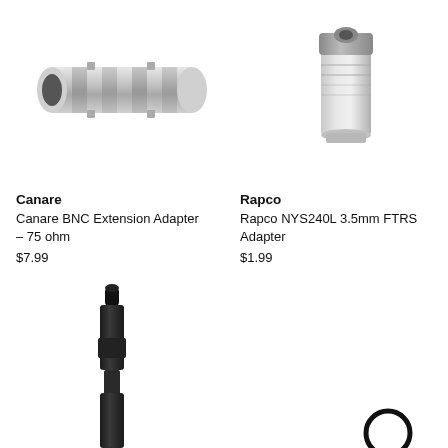[Figure (photo): Canare BNC Extension Adapter - silver metal cylindrical connector with knurled texture]
[Figure (photo): Rapco NYS240L 3.5mm FTRS Adapter - silver cylindrical audio adapter with knurled top]
Canare
Canare BNC Extension Adapter – 75 ohm
$7.99
Rapco
Rapco NYS240L 3.5mm FTRS Adapter
$1.99
[Figure (photo): Black plastic audio adapter plug with lanyard loop at bottom]
[Figure (illustration): Empty circle / ring icon (O shape) in black outline]